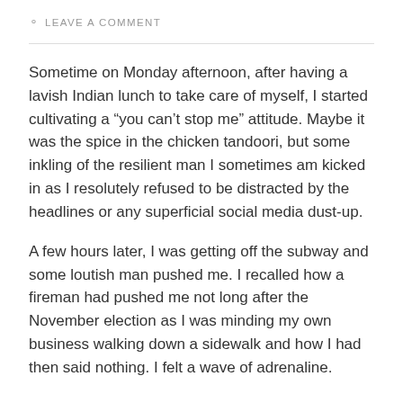LEAVE A COMMENT
Sometime on Monday afternoon, after having a lavish Indian lunch to take care of myself, I started cultivating a “you can’t stop me” attitude. Maybe it was the spice in the chicken tandoori, but some inkling of the resilient man I sometimes am kicked in as I resolutely refused to be distracted by the headlines or any superficial social media dust-up.
A few hours later, I was getting off the subway and some loutish man pushed me. I recalled how a fireman had pushed me not long after the November election as I was minding my own business walking down a sidewalk and how I had then said nothing. I felt a wave of adrenaline.